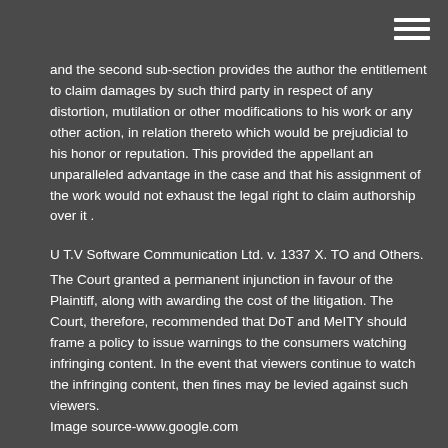and the second sub-section provides the author the entitlement to claim damages by such third party in respect of any distortion, mutilation or other modifications to his work or any other action, in relation thereto which would be prejudicial to his honor or reputation. This provided the appellant an unparalleled advantage in the case and that his assignment of the work would not exhaust the legal right to claim authorship over it .
U T.V Software Communication Ltd. v. 1337 X. TO and Others.
The Court granted a permanent injunction in favour of the Plaintiff, along with awarding the cost of the litigation. The Court, therefore, recommended that DoT and MeITY should frame a policy to issue warnings to the consumers watching infringing content. In the event that viewers continue to watch the infringing content, then fines may be levied against such viewers.
Image source-www.google.com